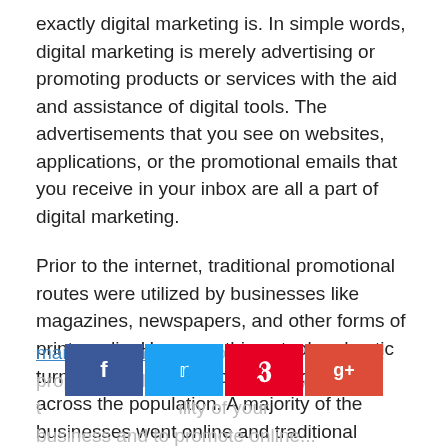exactly digital marketing is. In simple words, digital marketing is merely advertising or promoting products or services with the aid and assistance of digital tools. The advertisements that you see on websites, applications, or the promotional emails that you receive in your inbox are all a part of digital marketing.
Prior to the internet, traditional promotional routes were utilized by businesses like magazines, newspapers, and other forms of print media. However, things took a drastic turn after the internet became common across the population. A majority of the businesses went online and traditional marketing routes were no longer viable in front of digital marketing due to the latter being pretty cheap in comparison. Hence, if you have got an online business or planning to start one, make sure you learn digital marketing online as you will be needing a proper digital marketing strategy t[o...]ility of your business and to promote online...
[Figure (infographic): Social media share buttons: Facebook (blue), Twitter (light blue), Pinterest (red), Google+ (red-orange)]